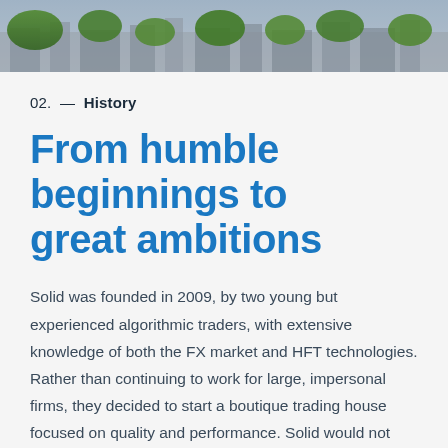[Figure (photo): Aerial or street-level photo showing trees and urban buildings in the background, used as a decorative banner image]
02.  —  History
From humble beginnings to great ambitions
Solid was founded in 2009, by two young but experienced algorithmic traders, with extensive knowledge of both the FX market and HFT technologies. Rather than continuing to work for large, impersonal firms, they decided to start a boutique trading house focused on quality and performance. Solid would not just provide liquidity to the market, but also provide the personal and tailored services that finance professionals require.